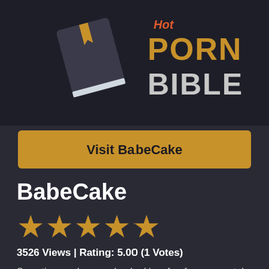[Figure (logo): Hot Porn Bible logo with a dark book icon with gold bookmark and stylized text logo reading 'Hot PORN BIBLE']
Visit BabeCake
BabeCake
[Figure (infographic): 5 gold stars rating display]
3526 Views | Rating: 5.00 (1 Votes)
Sometimes when you're looking for free porn, tube sites can get a bit tedious. It's hard to find your favorite porn star and all of the content you're looking for. BabeCake for you all of that...